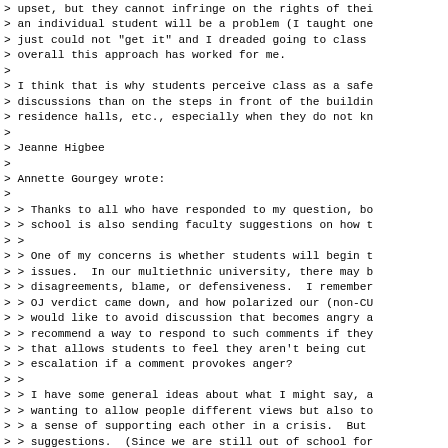> upset, but they cannot infringe on the rights of thei
> an individual student will be a problem (I taught one
> just could not "get it" and I dreaded going to class
> overall this approach has worked for me.
>
> I think that is why students perceive class as a safe
> discussions than on the steps in front of the buildin
> residence halls, etc., especially when they do not kn
>
> Jeanne Higbee
>
> Annette Gourgey wrote:
>
> > Thanks to all who have responded to my question, bo
> > school is also sending faculty suggestions on how t
> >
> > One of my concerns is whether students will begin t
> > issues.  In our multiethnic university, there may b
> > disagreements, blame, or defensiveness.  I remember
> > OJ verdict came down, and how polarized our (non-CU
> > would like to avoid discussion that becomes angry a
> > recommend a way to respond to such comments if they
> > that allows students to feel they aren't being cut
> > escalation if a comment provokes anger?
> >
> > I have some general ideas about what I might say, a
> > wanting to allow people different views but also to
> > a sense of supporting each other in a crisis.  But
> > suggestions.  (Since we are still out of school for
> > holidays, fortunately I have a few more days to get